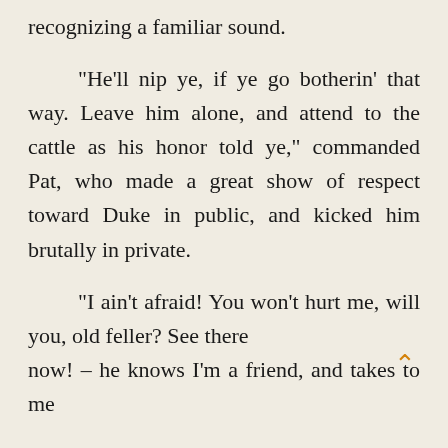recognizing a familiar sound.

"He'll nip ye, if ye go botherin' that way. Leave him alone, and attend to the cattle as his honor told ye," commanded Pat, who made a great show of respect toward Duke in public, and kicked him brutally in private.

"I ain't afraid! You won't hurt me, will you, old feller? See there now! – he knows I'm a friend, and takes to me